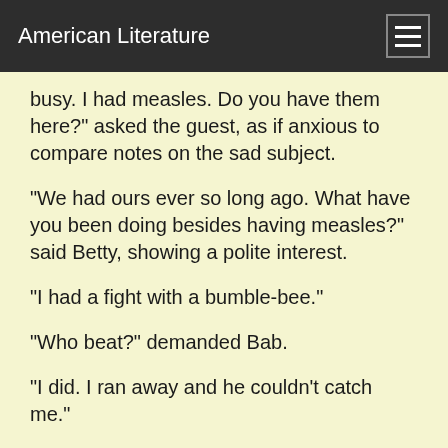American Literature
busy. I had measles. Do you have them here?" asked the guest, as if anxious to compare notes on the sad subject.
"We had ours ever so long ago. What have you been doing besides having measles?" said Betty, showing a polite interest.
"I had a fight with a bumble-bee."
"Who beat?" demanded Bab.
"I did. I ran away and he couldn't catch me."
"Can you shoot nicely?"